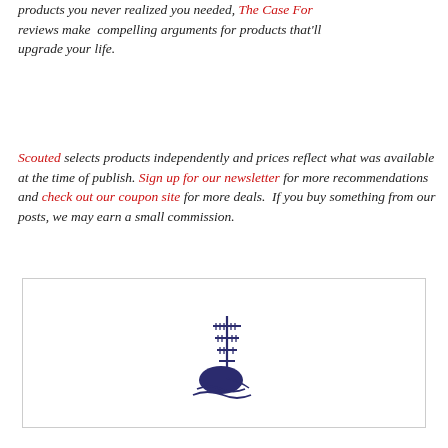products you never realized you needed, The Case For reviews make compelling arguments for products that'll upgrade your life.
Scouted selects products independently and prices reflect what was available at the time of publish. Sign up for our newsletter for more recommendations and check out our coupon site for more deals.  If you buy something from our posts, we may earn a small commission.
[Figure (logo): A dark navy blue logo depicting a stylized ship or nautical illustration with a tall mast and a rounded hull on water, rendered in a sketched/etched style.]